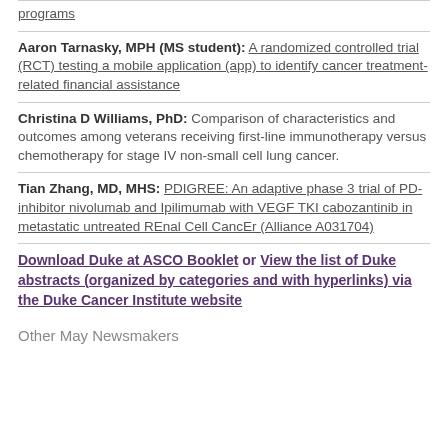programs
Aaron Tarnasky, MPH (MS student): A randomized controlled trial (RCT) testing a mobile application (app) to identify cancer treatment-related financial assistance
Christina D Williams, PhD: Comparison of characteristics and outcomes among veterans receiving first-line immunotherapy versus chemotherapy for stage IV non-small cell lung cancer.
Tian Zhang, MD, MHS: PDIGREE: An adaptive phase 3 trial of PD-inhibitor nivolumab and Ipilimumab with VEGF TKI cabozantinib in metastatic untreated REnal Cell CancEr (Alliance A031704)
Download Duke at ASCO Booklet or View the list of Duke abstracts (organized by categories and with hyperlinks) via the Duke Cancer Institute website
Other May Newsmakers